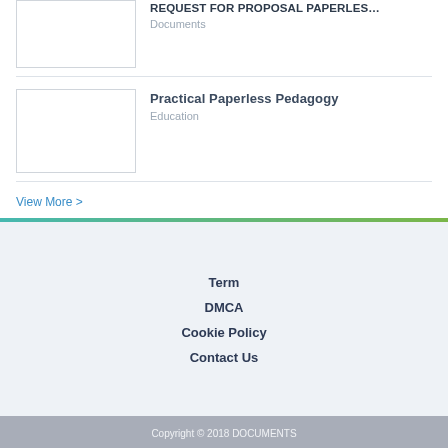REQUEST FOR PROPOSAL PAPERLES... | Documents
Practical Paperless Pedagogy | Education
View More >
Term
DMCA
Cookie Policy
Contact Us
Copyright © 2018 DOCUMENTS